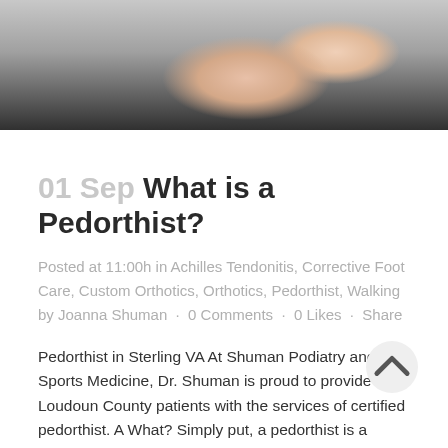[Figure (photo): A close-up photo of hands performing foot care or massage, with skin tones against a dark background, cropped at the top of the page.]
01 Sep What is a Pedorthist?
Posted at 11:00h in Achilles Tendonitis, Corrective Foot Care, Custom Orthotics, Orthotics, Pedorthist, Walking by Joanna Shuman · 0 Comments · 0 Likes · Share
Pedorthist in Sterling VA At Shuman Podiatry and Sports Medicine, Dr. Shuman is proud to provide her Loudoun County patients with the services of certified pedorthist. A What? Simply put, a pedorthist is a healthcare professional who specializes in analyzing